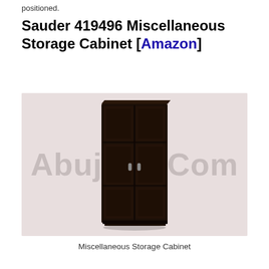positioned.
Sauder 419496 Miscellaneous Storage Cabinet [Amazon]
[Figure (photo): Dark espresso finish tall storage cabinet with two doors featuring raised panel design and small silver handles, displayed against a light pinkish-beige background. Watermark text 'AbujaShop.Com' overlaid on the image.]
Miscellaneous Storage Cabinet